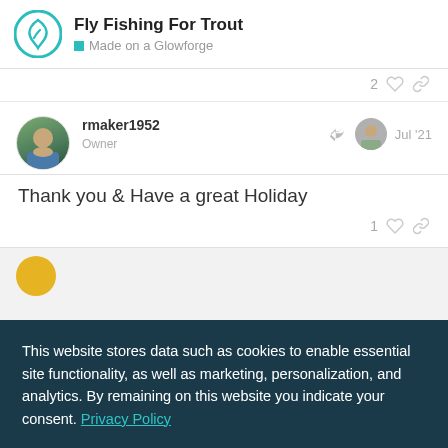Fly Fishing For Trout — Made on a Glowforge
2 likes, link icon
rmaker1952 Owner — Jul '21
Thank you & Have a great Holiday
1 like, link icon
This website stores data such as cookies to enable essential site functionality, as well as marketing, personalization, and analytics. By remaining on this website you indicate your consent. Privacy Policy